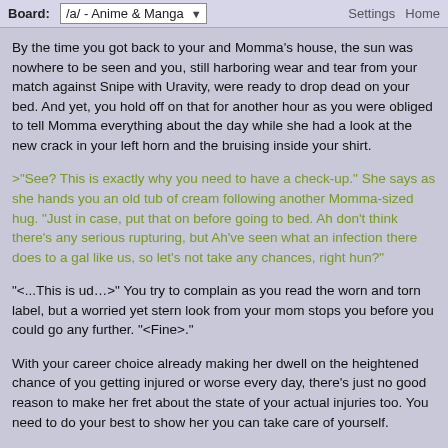Board: /a/ - Anime & Manga  Settings  Home
By the time you got back to your and Momma's house, the sun was nowhere to be seen and you, still harboring wear and tear from your match against Snipe with Uravity, were ready to drop dead on your bed. And yet, you hold off on that for another hour as you were obliged to tell Momma everything about the day while she had a look at the new crack in your left horn and the bruising inside your shirt.
>"See? This is exactly why you need to have a check-up." She says as she hands you an old tub of cream following another Momma-sized hug. "Just in case, put that on before going to bed. Ah don't think there's any serious rupturing, but Ah've seen what an infection there does to a gal like us, so let's not take any chances, right hun?"
"<...This is ud…>" You try to complain as you read the worn and torn label, but a worried yet stern look from your mom stops you before you could go any further. "<Fine>."
With your career choice already making her dwell on the heightened chance of you getting injured or worse every day, there's just no good reason to make her fret about the state of your actual injuries too. You need to do your best to show her you can take care of yourself.
After a brief, painful shower and applying the medication, you